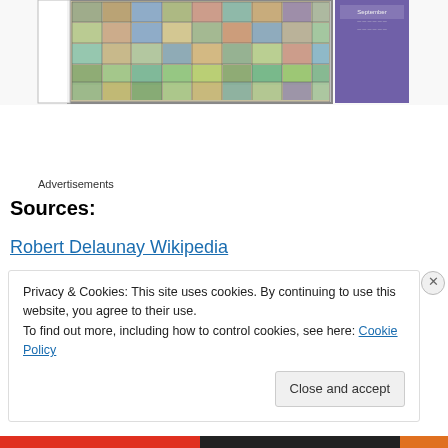[Figure (illustration): Top portion of a webpage showing a colorful abstract painting (mosaic/cubist style with greens, yellows, blues) in a framed area, and a purple book cover visible to the right.]
Advertisements
Sources:
Robert Delaunay Wikipedia
Privacy & Cookies: This site uses cookies. By continuing to use this website, you agree to their use.
To find out more, including how to control cookies, see here: Cookie Policy
Close and accept